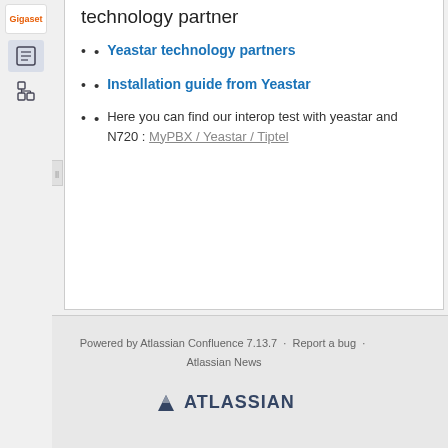technology partner
Yeastar technology partners
Installation guide from Yeastar
Here you can find our interop test with yeastar and N720 : MyPBX / Yeastar / Tiptel
...
Powered by Atlassian Confluence 7.13.7 · Report a bug · Atlassian News